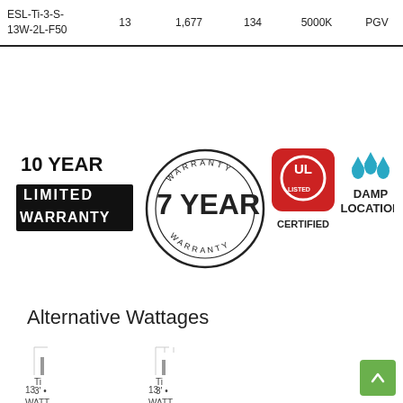| Model | Watts | Lumens | LPW | CCT | Lens |
| --- | --- | --- | --- | --- | --- |
| ESL-Ti-3-S-13W-2L-F50 | 13 | 1,677 | 134 | 5000K | PGV |
[Figure (infographic): Four certification/warranty badges: 10 Year Limited Warranty badge (bold black text), 7 Year Warranty circular stamp, UL Certified red rounded square badge, and Damp Location badge with water droplets.]
Alternative Wattages
[Figure (infographic): Two product option cards showing light fixture silhouettes. Left card: Ti, 3', 13 WATT. Right card: Ti, 3', 13 WATT.]